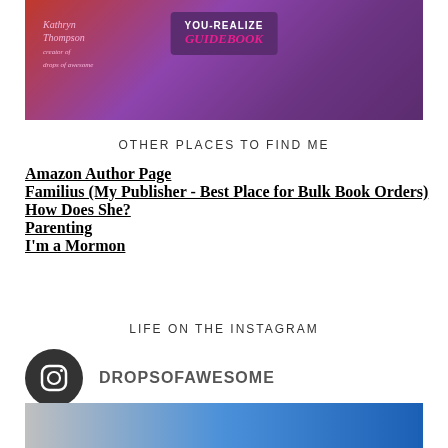[Figure (photo): Book cover image showing 'You-Realize Guidebook' with purple and red decorative background, author name Kathryn Thompson]
OTHER PLACES TO FIND ME
Amazon Author Page
Familius (My Publisher - Best Place for Bulk Book Orders)
How Does She?
Parenting
I'm a Mormon
LIFE ON THE INSTAGRAM
[Figure (logo): Instagram icon circle logo with camera outline in dark grey/black circle, username DROPSOFAWESOME]
[Figure (photo): Partial photo at bottom of page showing blue tones]